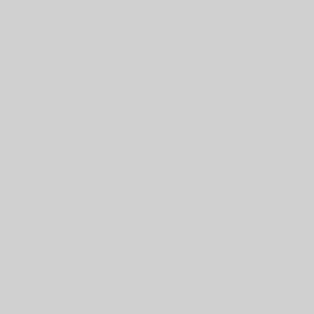422 I saw a commentator, I forget who, m... that Presidents and their attorneys are usu... losing on their claims of presidential powe... claims of presidential power for all future...
------
Well, there's your conservative governing...
If I'm ever President, I'm just YOLO'ing t... stated purpose and intention* of violating... can, as very hard as I can.
That way, the Court can shut down everyt... and improve the country materially... Or t... abuse-of-power industry, and deal with m... political friends away to gulags while I ra... EOs left, right, and center.
"Your move, dickweeds. Stop me or don't.
Posted by: Yudhishthira's Dice at January 21, 202...
423 It's almost like Biden thinks he'll be p...
Posted by: Capital Eff at January 21, 2022 05:24...